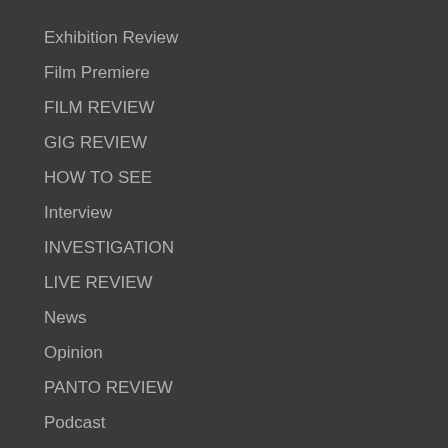Exhibition Review
Film Premiere
FILM REVIEW
GIG REVIEW
HOW TO SEE
Interview
INVESTIGATION
LIVE REVIEW
News
Opinion
PANTO REVIEW
Podcast
Predictions
PREVIEW